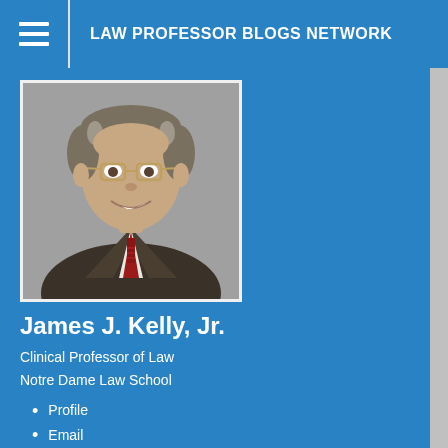LAW PROFESSOR BLOGS NETWORK
[Figure (photo): Professional headshot of James J. Kelly, Jr., a man with glasses, grey-brown hair, wearing a dark suit jacket, white shirt, and red tie, photographed against a grey background.]
James J. Kelly, Jr.
Clinical Professor of Law
Notre Dame Law School
Profile
Email
SSRN Author Page